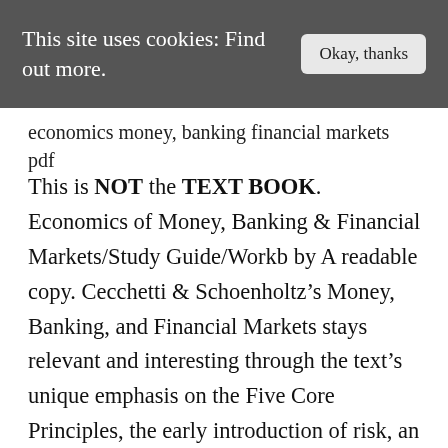This site uses cookies: Find out more.
economics money, banking financial markets pdf
This is NOT the TEXT BOOK. Economics of Money, Banking & Financial Markets/Study Guide/Workb by A readable copy. Cecchetti & Schoenholtz’s Money, Banking, and Financial Markets stays relevant and interesting through the text’s unique emphasis on the Five Core Principles, the early introduction of risk, an integrated global perspective, and the integration of FRED data in the text and problem material. 0000005662 00000 n %PDF-1.2 %����